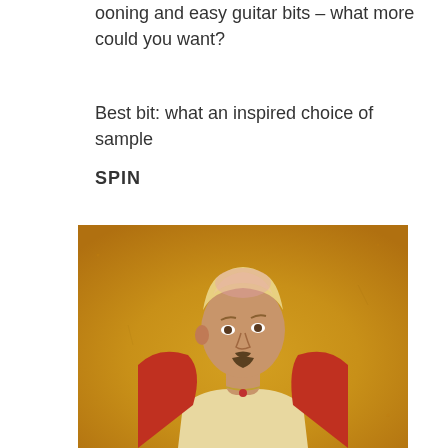ooning and easy guitar bits – what more could you want?
Best bit: what an inspired choice of sample
SPIN
[Figure (photo): A man with bleached blonde hair and a goatee, wearing a red jacket open over a light shirt with a necklace, posed against a golden yellow background]